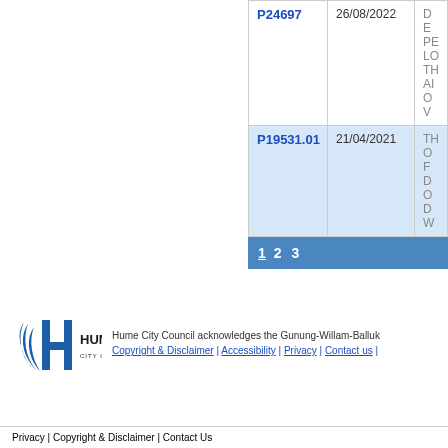| Application | Date | Description |
| --- | --- | --- |
| P24697 | 26/08/2022 | DE PE LO TH AI OV |
| P19531.01 | 21/04/2021 | TH OF DO DW |
1 2 3
< Previous
[Figure (logo): Hume City Council logo]
Hume City Council acknowledges the Gunung-Willam-Balluk
Copyright & Disclaimer | Accessibility | Privacy | Contact us |
Privacy | Copyright & Disclaimer | Contact Us